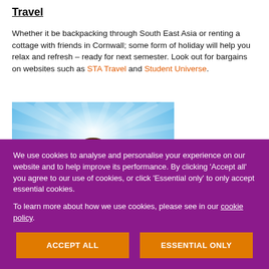Travel
Whether it be backpacking through South East Asia or renting a cottage with friends in Cornwall; some form of holiday will help you relax and refresh – ready for next semester. Look out for bargains on websites such as STA Travel and Student Universe.
[Figure (photo): A vintage brown suitcase covered in travel stickers including a VW bus, set against a blue sky with light rays radiating outward.]
We use cookies to analyse and personalise your experience on our website and to help improve its performance. By clicking 'Accept all' you agree to our use of cookies, or click 'Essential only' to only accept essential cookies.
To learn more about how we use cookies, please see in our cookie policy.